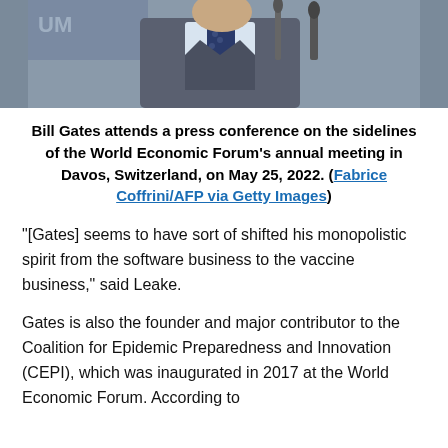[Figure (photo): Photo of Bill Gates at a press conference at the World Economic Forum in Davos, Switzerland. He is wearing a suit and tie, visible from the shoulders up, with a microphone stand and WEF signage in the background.]
Bill Gates attends a press conference on the sidelines of the World Economic Forum's annual meeting in Davos, Switzerland, on May 25, 2022. (Fabrice Coffrini/AFP via Getty Images)
“[Gates] seems to have sort of shifted his monopolistic spirit from the software business to the vaccine business,” said Leake.
Gates is also the founder and major contributor to the Coalition for Epidemic Preparedness and Innovation (CEPI), which was inaugurated in 2017 at the World Economic Forum. According to